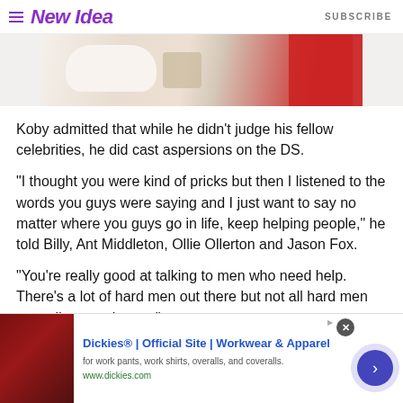New Idea  SUBSCRIBE
[Figure (photo): Partial hero image showing decorative items including what appears to be chunky knit objects, a bottle, and a red fabric/item on a neutral background]
Koby admitted that while he didn't judge his fellow celebrities, he did cast aspersions on the DS.
"I thought you were kind of pricks but then I listened to the words you guys were saying and I just want to say no matter where you guys go in life, keep helping people," he told Billy, Ant Middleton, Ollie Ollerton and Jason Fox.
"You're really good at talking to men who need help. There's a lot of hard men out there but not all hard men can talk to weak men."
[Figure (screenshot): Advertisement banner for Dickies Official Site - Workwear & Apparel. Shows ad image of red leather furniture, text: Dickies® | Official Site | Workwear & Apparel, for work pants, work shirts, overalls, and coveralls. www.dickies.com]